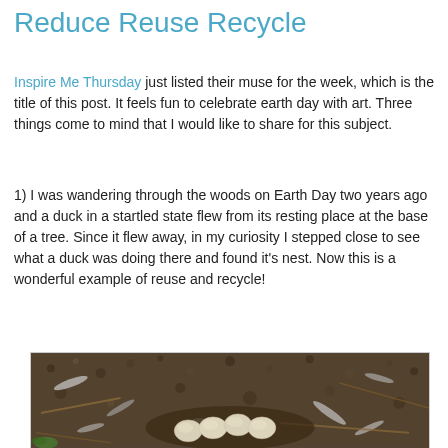Reduce Reuse Recycle
Inspire Me Thursday just listed their muse for the week, which is the title of this post. It feels fun to celebrate earth day with art. Three things come to mind that I would like to share for this subject.
1) I was wandering through the woods on Earth Day two years ago and a duck in a startled state flew from its resting place at the base of a tree. Since it flew away, in my curiosity I stepped close to see what a duck was doing there and found it's nest. Now this is a wonderful example of reuse and recycle!
[Figure (photo): A duck nest on the ground with several pale/cream-colored eggs surrounded by feathers, twigs, and ground cover material.]